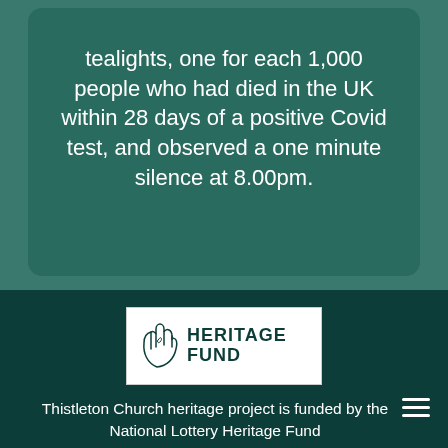tealights, one for each 1,000 people who had died in the UK within 28 days of a positive Covid test, and observed a one minute silence at 8.00pm.
[Figure (logo): National Lottery Heritage Fund logo: crossed fingers hand icon in outline style, beside bold text reading HERITAGE FUND]
Thistleton Church heritage project is funded by the National Lottery Heritage Fund